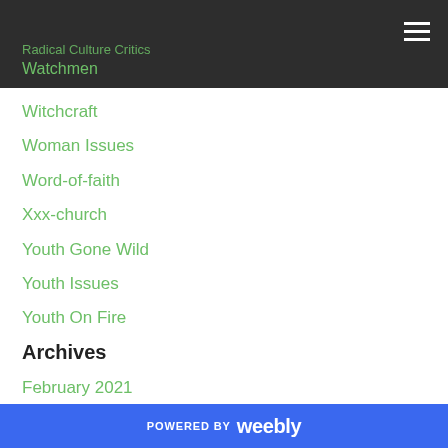Witchcraft Woman Issues Word-of-faith (header navigation area)
Witchcraft
Woman Issues
Word-of-faith
Xxx-church
Youth Gone Wild
Youth Issues
Youth On Fire
Archives
February 2021
January 2021
February 2019
July 2018
September 2017
August 2017
February 2017
POWERED BY weebly